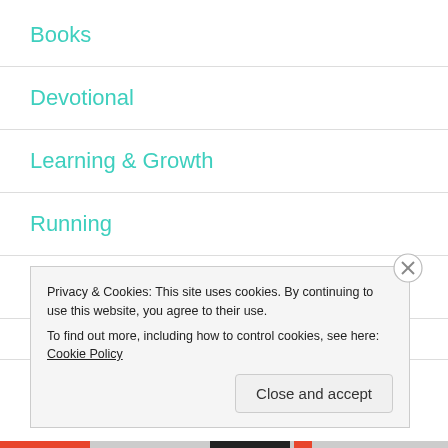Books
Devotional
Learning & Growth
Running
Uncategorized
Privacy & Cookies: This site uses cookies. By continuing to use this website, you agree to their use.
To find out more, including how to control cookies, see here: Cookie Policy
Close and accept